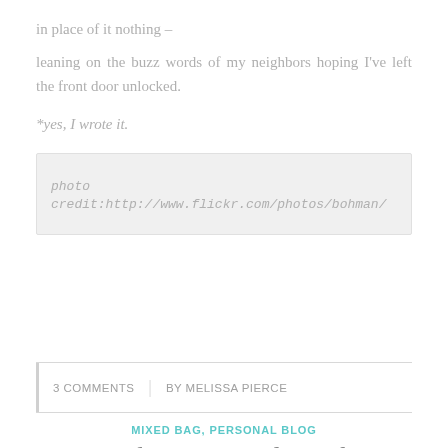in place of it nothing –
leaning on the buzz words of my neighbors hoping I've left the front door unlocked.
*yes, I wrote it.
photo credit:http://www.flickr.com/photos/bohman/
3 COMMENTS | BY MELISSA PIERCE
MIXED BAG, PERSONAL BLOG
Lucky Limo Ride With